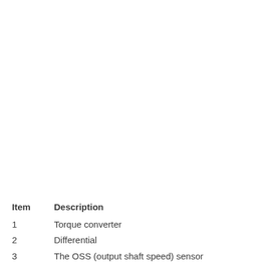| Item | Description |
| --- | --- |
| 1 | Torque converter |
| 2 | Differential |
| 3 | The OSS (output shaft speed) sensor |